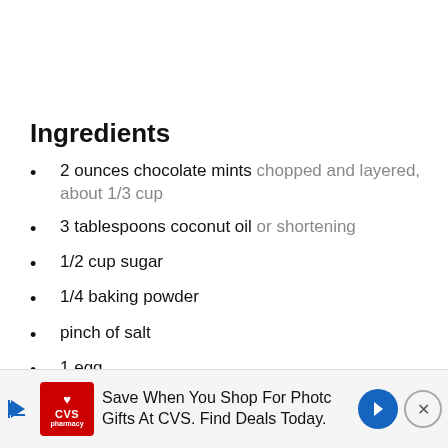Ingredients
2 ounces chocolate mints chopped and layered, about 1/3 cup
3 tablespoons coconut oil or shortening
1/2 cup sugar
1/4 baking powder
pinch of salt
1 egg
1 teaspoon vanilla extract
3/4 cups all-purpose flour
[Figure (screenshot): CVS pharmacy advertisement banner: Save When You Shop For Photo Gifts At CVS. Find Deals Today.]